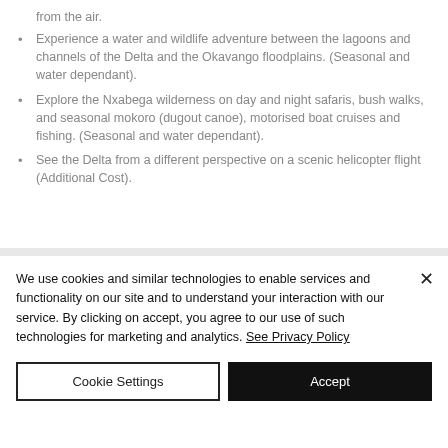from the air.
Experience a water and wildlife adventure between the lagoons and channels of the Delta and the Okavango floodplains. (Seasonal and water dependant).
Explore the Nxabega wilderness on day and night safaris, bush walks, and seasonal mokoro (dugout canoe), motorised boat cruises and fishing. (Seasonal and water dependant).
See the Delta from a different perspective on a scenic helicopter flight (Additional Cost).
We use cookies and similar technologies to enable services and functionality on our site and to understand your interaction with our service. By clicking on accept, you agree to our use of such technologies for marketing and analytics. See Privacy Policy